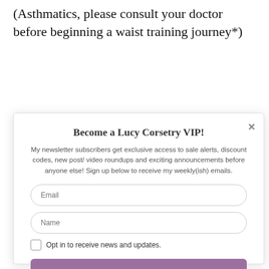(Asthmatics, please consult your doctor before beginning a waist training journey*)
Become a Lucy Corsetry VIP!
My newsletter subscribers get exclusive access to sale alerts, discount codes, new post/ video roundups and exciting announcements before anyone else! Sign up below to receive my weekly(ish) emails.
Email
Name
Opt in to receive news and updates.
SUBSCRIBE